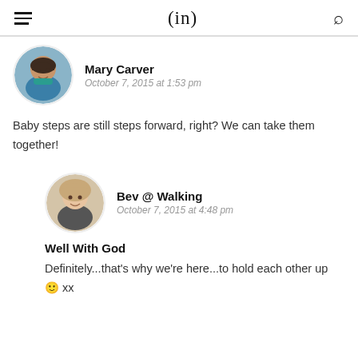(in)
[Figure (photo): Circular profile photo of Mary Carver, a woman with dark hair smiling, wearing a teal top]
Mary Carver
October 7, 2015 at 1:53 pm
Baby steps are still steps forward, right? We can take them together!
[Figure (photo): Circular profile photo of Bev @ Walking Well With God, a woman with blonde hair smiling]
Bev @ Walking
October 7, 2015 at 4:48 pm
Well With God
Definitely...that's why we're here...to hold each other up 🙂 xx